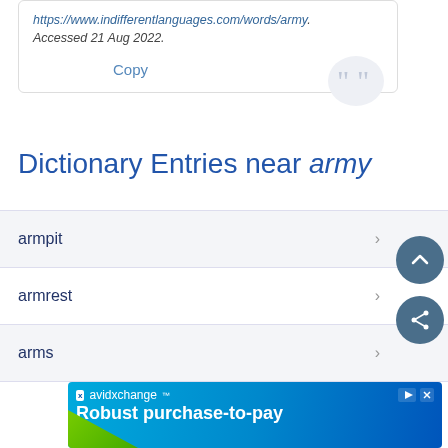https://www.indifferentlanguages.com/words/army. Accessed 21 Aug 2022.
Copy
Dictionary Entries near army
armpit
armrest
arms
[Figure (screenshot): AvidXchange advertisement banner with text 'Robust purchase-to-pay']